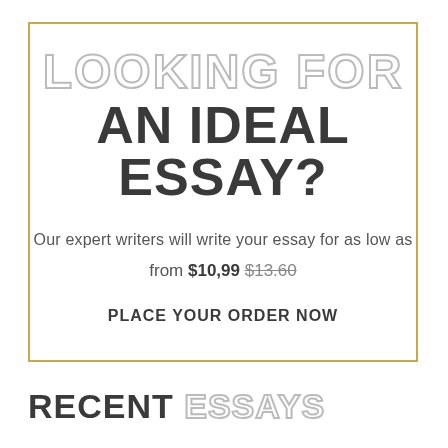LOOKING FOR AN IDEAL ESSAY?
Our expert writers will write your essay for as low as
from $10,99 $13.60
PLACE YOUR ORDER NOW
RECENT ESSAYS